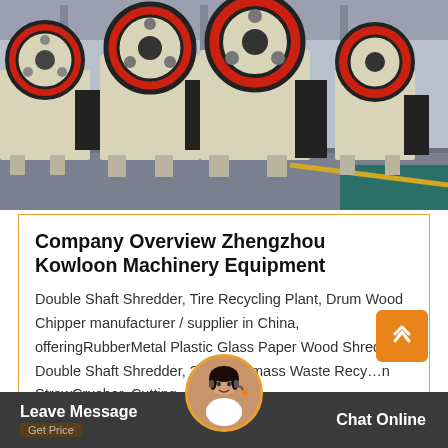[Figure (photo): Row of jaw crusher machines in a factory/warehouse setting. The machines are cream/white and black with red flywheels, lined up on a gray concrete floor. Teal flooring visible in corner.]
Company Overview Zhengzhou Kowloon Machinery Equipment
Double Shaft Shredder, Tire Recycling Plant, Drum Wood Chipper manufacturer / supplier in China, offeringRubberMetal Plastic Glass Paper Wood Shredder Double Shaft Shredder, 25tph Biomass Waste Recycling StrawCrusher, Cutting…
Leave Message  Get Price  Chat Online